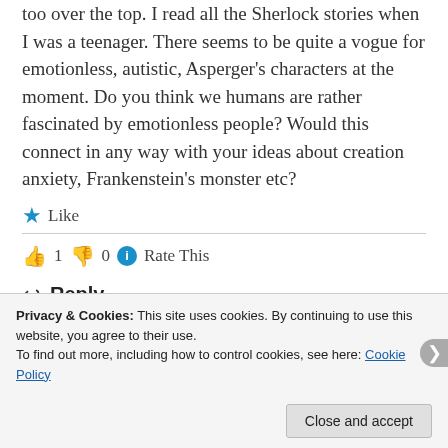too over the top. I read all the Sherlock stories when I was a teenager. There seems to be quite a vogue for emotionless, autistic, Asperger's characters at the moment. Do you think we humans are rather fascinated by emotionless people? Would this connect in any way with your ideas about creation anxiety, Frankenstein's monster etc?
★ Like
👍 1  👎 0  ℹ Rate This
↩ Reply
Privacy & Cookies: This site uses cookies. By continuing to use this website, you agree to their use.
To find out more, including how to control cookies, see here: Cookie Policy
Close and accept